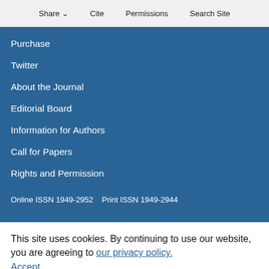Share  Cite  Permissions  Search Site
Purchase
Twitter
About the Journal
Editorial Board
Information for Authors
Call for Papers
Rights and Permission
Online ISSN 1949-2952   Print ISSN 1949-2944
This site uses cookies. By continuing to use our website, you are agreeing to our privacy policy.
Accept
About ASME Journals